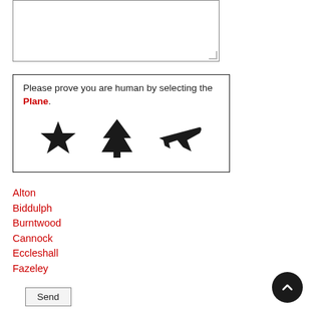[Figure (screenshot): Textarea input box (empty, resizable) at the top of the page]
Please prove you are human by selecting the Plane.
[Figure (other): CAPTCHA icons: star, tree, airplane (plane)]
Send
Alton
Biddulph
Burntwood
Cannock
Eccleshall
Fazeley
[Figure (other): Back to top button (dark circle with upward chevron)]